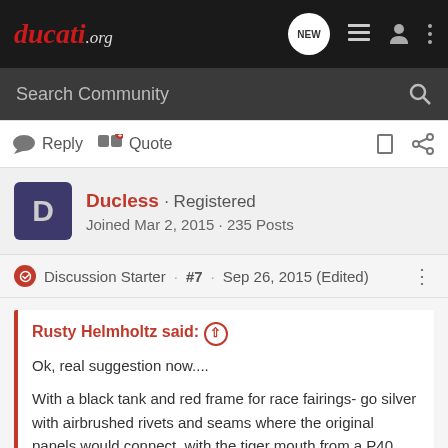ducati.org
Search Community
Reply  Quote
Ducless · Registered
Joined Mar 2, 2015 · 235 Posts
Discussion Starter · #7 · Sep 26, 2015 (Edited)
Rusty Helmholtz said:
Ok, real suggestion now....

With a black tank and red frame for race fairings- go silver with airbrushed rivets and seams where the original panels would connect, with the tiger mouth from a P40. You can put the eyes where the headlight would normally go.